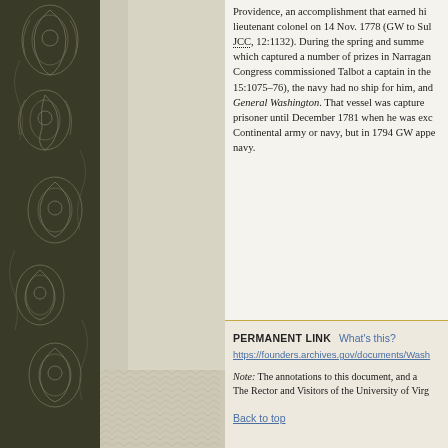Providence, an accomplishment that earned hi... lieutenant colonel on 14 Nov. 1778 (GW to Sul... JCC, 12:1132). During the spring and summer... which captured a number of prizes in Narragan... Congress commissioned Talbot a captain in the... 15:1075–76), the navy had no ship for him, and... General Washington. That vessel was captured... prisoner until December 1781 when he was exc... Continental army or navy, but in 1794 GW appe... navy.
PERMANENT LINK   What's this?
https://founders.archives.gov/documents/Wash...
Note: The annotations to this document, and a... The Rector and Visitors of the University of Virg...
Back to top